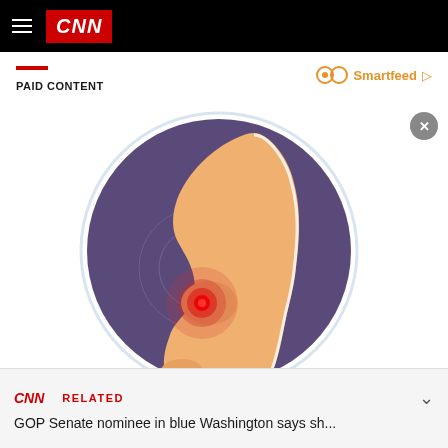CNN
PAID CONTENT
Smartfeed
[Figure (illustration): Medical illustration of an ankle/foot showing a pain point highlighted in red/orange, set against a purple circular background. The foot is shown in cross-section style with a glowing red circle indicating inflammation or pain at the ankle joint.]
CNN  RELATED  GOP Senate nominee in blue Washington says sh...